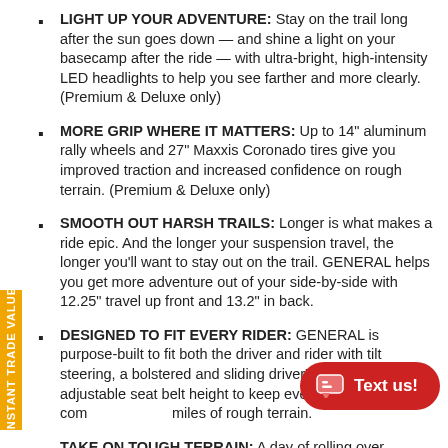LIGHT UP YOUR ADVENTURE: Stay on the trail long after the sun goes down — and shine a light on your basecamp after the ride — with ultra-bright, high-intensity LED headlights to help you see farther and more clearly. (Premium & Deluxe only)
MORE GRIP WHERE IT MATTERS: Up to 14" aluminum rally wheels and 27" Maxxis Coronado tires give you improved traction and increased confidence on rough terrain. (Premium & Deluxe only)
SMOOTH OUT HARSH TRAILS: Longer is what makes a ride epic. And the longer your suspension travel, the longer you'll want to stay out on the trail. GENERAL helps you get more adventure out of your side-by-side with 12.25" travel up front and 13.2" in back.
DESIGNED TO FIT EVERY RIDER: GENERAL is purpose-built to fit both the driver and rider with tilt steering, a bolstered and sliding driver's seat, and adjustable seat belt height to keep everyone more comfortable over miles of rough terrain.
TAKE ON TOUGH TERRAIN: A day of rolling over